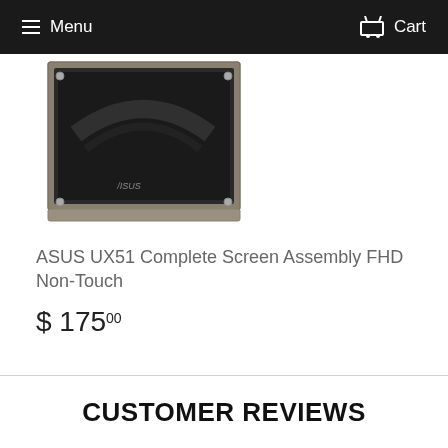Menu   Cart
[Figure (photo): ASUS laptop screen assembly showing the open lid with ASUS branding, dark display, and mounting screws visible at corners]
ASUS UX51 Complete Screen Assembly FHD Non-Touch
$ 175.00
CUSTOMER REVIEWS